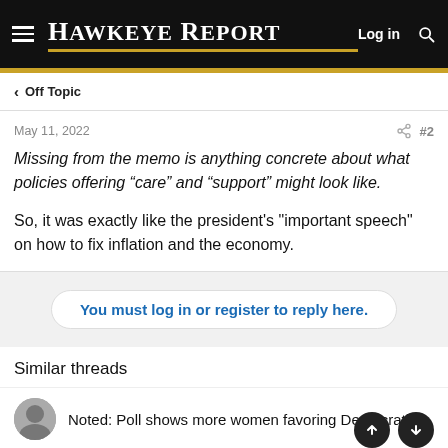Hawkeye Report
< Off Topic
May 11, 2022  #2
Missing from the memo is anything concrete about what policies offering “care” and “support” might look like.
So, it was exactly like the president's "important speech" on how to fix inflation and the economy.
You must log in or register to reply here.
Similar threads
Noted: Poll shows more women favoring Democratic